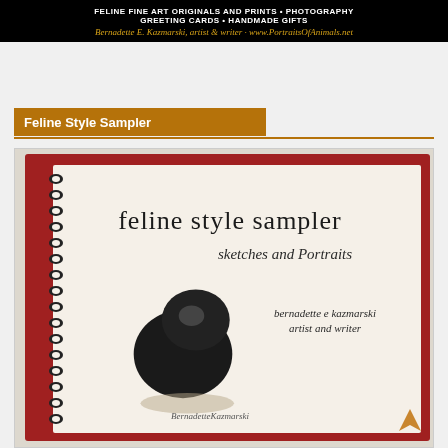[Figure (other): Black banner header with white bold text 'FELINE FINE ART ORIGINALS AND PRINTS • PHOTOGRAPHY GREETING CARDS • HANDMADE GIFTS' and yellow/gold italic text 'Bernadette E. Kazmarski, artist & writer · www.PortraitsOfAnimals.net']
Feline Style Sampler
[Figure (photo): Photo of a spiral-bound book titled 'feline style sampler: sketches and Portraits' by bernadette e kazmarski, artist and writer, with a black cat illustration on the cover, displayed with a red mat/frame background]